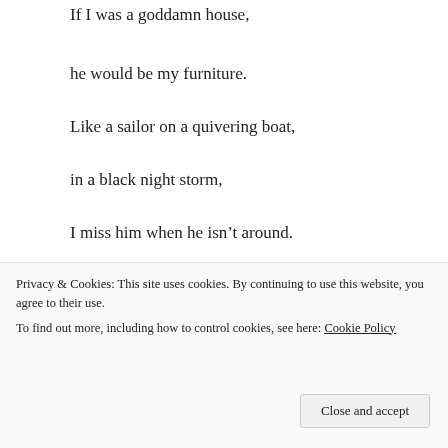If I was a goddamn house,
he would be my furniture.
Like a sailor on a quivering boat,
in a black night storm,
I miss him when he isn’t around.
[Figure (screenshot): Jetpack advertisement banner with green background. Shows Jetpack logo and text 'Like an undo button for your WordPress site' with a 'Back up your site' button.]
Privacy & Cookies: This site uses cookies. By continuing to use this website, you agree to their use.
To find out more, including how to control cookies, see here: Cookie Policy
Close and accept